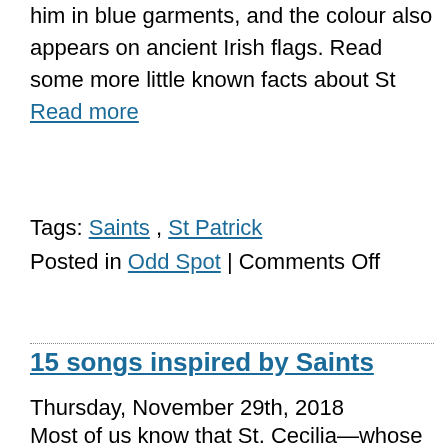him in blue garments, and the colour also appears on ancient Irish flags. Read some more little known facts about St Read more
Tags: Saints , St Patrick
Posted in Odd Spot | Comments Off
15 songs inspired by Saints
Thursday, November 29th, 2018
Most of us know that St. Cecilia—whose feast day is November 22nd—is the patroness of music and musicians. Many of us know that many Catholic artists, such as Audrey Assad, have written songs inspired by saints. Saints and religious were a popular subject for classical composers but did